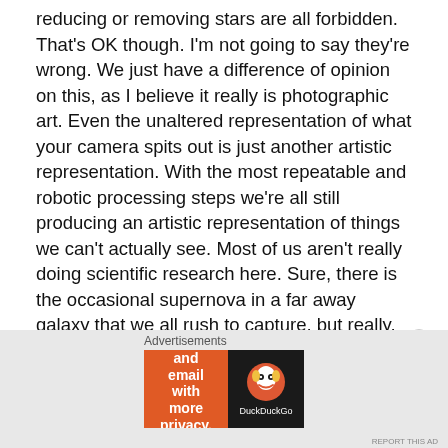reducing or removing stars are all forbidden. That's OK though. I'm not going to say they're wrong. We just have a difference of opinion on this, as I believe it really is photographic art. Even the unaltered representation of what your camera spits out is just another artistic representation. With the most repeatable and robotic processing steps we're all still producing an artistic representation of things we can't actually see. Most of us aren't really doing scientific research here. Sure, there is the occasional supernova in a far away galaxy that we all rush to capture, but really, It's all just pretty pictures of space.
Clear Skies, Bleary Eyes – KA
[Figure (other): DuckDuckGo advertisement banner: orange left panel with text 'Search, browse, and email with more privacy. All in One Free App' and dark right panel with DuckDuckGo logo and duck icon.]